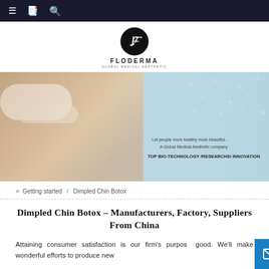Navigation bar with menu, bookmark, and search icons
[Figure (logo): Floderma logo: black circle with stylized face silhouette, text FLODERMA below, subtitle 'GLOBAL MEDICAL AESTHETIC']
[Figure (photo): Hero banner showing a woman receiving a facial injection, with text overlay 'Let people more healthy more beautiful... A Global Medical Aesthetic company' and 'TOP BIO-TECHNOLOGY /RESEARCHS/ INNOVATION'. Right side shows light blue background with molecular/network dot pattern.]
» Getting started / Dimpled Chin Botox
Dimpled Chin Botox – Manufacturers, Factory, Suppliers From China
Attaining consumer satisfaction is our firm's purpose for good. We'll make wonderful efforts to produce new